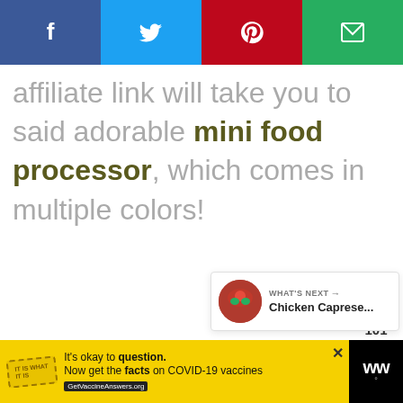[Figure (screenshot): Social sharing bar with Facebook (dark blue), Twitter (light blue), Pinterest (red), and Email (green) buttons across the top]
affiliate link will take you to said adorable mini food processor, which comes in multiple colors!
[Figure (infographic): Right sidebar with green heart/like button showing 101, and a share circle button below]
[Figure (screenshot): What's Next card showing Chicken Caprese... with a food thumbnail image]
[Figure (screenshot): Advertisement banner at bottom: yellow ad saying It's okay to question. Now get the facts on COVID-19 vaccines GetVaccineAnswers.org with a WW brand logo on the right]